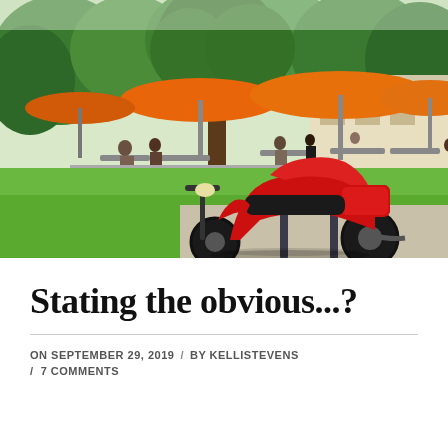[Figure (photo): Outdoor park scene with a red motor scooter/Vespa parked in the foreground near a bike rack. Green grass lawn is visible. In the background, people are seated at tables under large orange patio umbrellas near a building.]
Stating the obvious...?
ON SEPTEMBER 29, 2019  /  BY KELLISTEVENS
/  7 COMMENTS